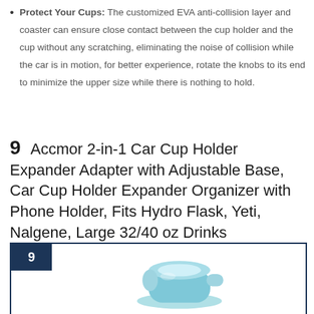Protect Your Cups: The customized EVA anti-collision layer and coaster can ensure close contact between the cup holder and the cup without any scratching, eliminating the noise of collision while the car is in motion, for better experience, rotate the knobs to its end to minimize the upper size while there is nothing to hold.
9  Accmor 2-in-1 Car Cup Holder Expander Adapter with Adjustable Base, Car Cup Holder Expander Organizer with Phone Holder, Fits Hydro Flask, Yeti, Nalgene, Large 32/40 oz Drinks Bottles,Black
[Figure (photo): Product image of Accmor 2-in-1 Car Cup Holder Expander Adapter shown in light blue/teal color, inside a bordered box with a dark navy badge showing number 9 in the top left corner.]